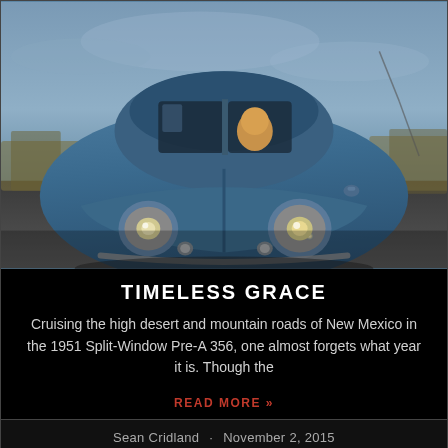[Figure (photo): Front view of a vintage 1951 Porsche Split-Window Pre-A 356 in blue/teal color driving on a desert highway road, shot from low angle showing the distinctive round headlights and split windshield, overcast sky in background]
TIMELESS GRACE
Cruising the high desert and mountain roads of New Mexico in the 1951 Split-Window Pre-A 356, one almost forgets what year it is. Though the
READ MORE »
Sean Cridland · November 2, 2015